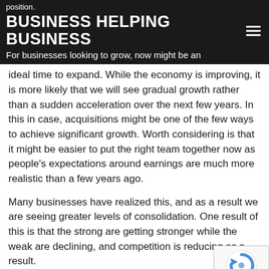position.
BUSINESS HELPING BUSINESS
For businesses looking to grow, now might be an ideal time to expand. While the economy is improving, it is more likely that we will see gradual growth rather than a sudden acceleration over the next few years. In this in case, acquisitions might be one of the few ways to achieve significant growth. Worth considering is that it might be easier to put the right team together now as people's expectations around earnings are much more realistic than a few years ago.
Many businesses have realized this, and as a result we are seeing greater levels of consolidation. One result of this is that the strong are getting stronger while the weak are declining, and competition is reducing as a result.
For business owners looking towards their